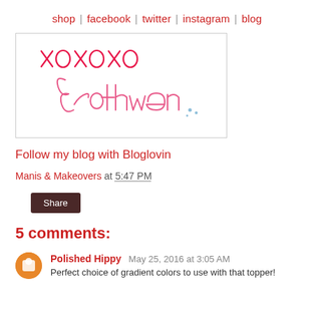shop | facebook | twitter | instagram | blog
[Figure (illustration): Handwritten signature image showing 'xoxoxo' in red script at top and 'Brothwen' in pink cursive script below, with small decorative dots, inside a bordered box.]
Follow my blog with Bloglovin
Manis & Makeovers at 5:47 PM
Share
5 comments:
Polished Hippy May 25, 2016 at 3:05 AM
Perfect choice of gradient colors to use with that topper!